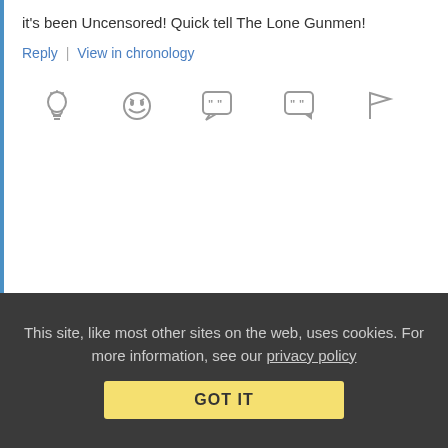it's been Uncensored! Quick tell The Lone Gunmen!
Reply | View in chronology
[Figure (infographic): Row of action icons: lightbulb, laughing emoji, quote bubble (66), comment bubble (99), flag]
[Figure (infographic): Thread/comment icon with [2] count]
JP   November 20, 2013 at 12:46 pm
Re: Response to: Anonymous Coward on Nov 20th, 2013 @ 12:04pm
This site, like most other sites on the web, uses cookies. For more information, see our privacy policy
GOT IT